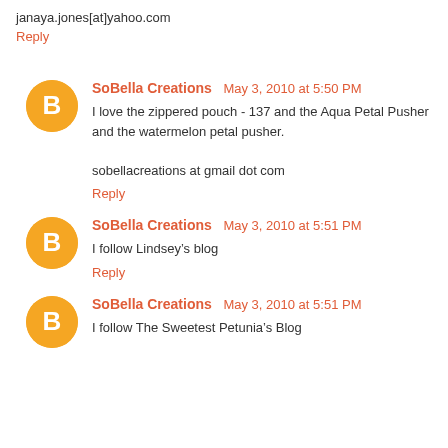janaya.jones[at]yahoo.com
Reply
SoBella Creations May 3, 2010 at 5:50 PM
I love the zippered pouch - 137 and the Aqua Petal Pusher and the watermelon petal pusher.

sobellacreations at gmail dot com
Reply
SoBella Creations May 3, 2010 at 5:51 PM
I follow Lindsey’s blog
Reply
SoBella Creations May 3, 2010 at 5:51 PM
I follow The Sweetest Petunia’s Blog